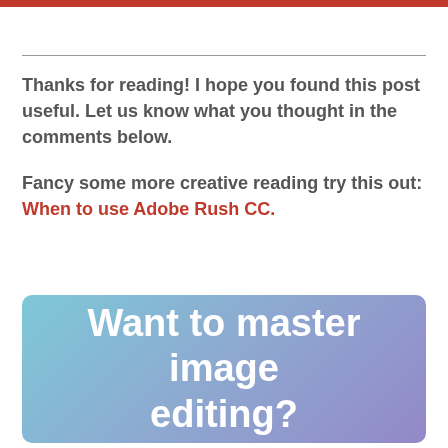Thanks for reading! I hope you found this post useful. Let us know what you thought in the comments below.
Fancy some more creative reading try this out: When to use Adobe Rush CC.
[Figure (illustration): Gradient banner box with text 'Want to master image editing?' in white bold font on a blue-to-purple gradient background with rounded corners.]